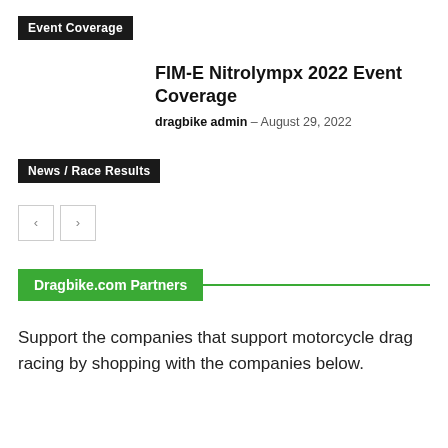Event Coverage
FIM-E Nitrolympx 2022 Event Coverage
dragbike admin – August 29, 2022
News / Race Results
[Figure (other): Navigation prev/next arrow buttons]
Dragbike.com Partners
Support the companies that support motorcycle drag racing by shopping with the companies below.